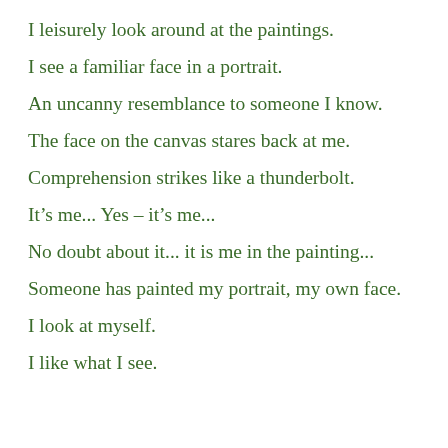I leisurely look around at the paintings.
I see a familiar face in a portrait.
An uncanny resemblance to someone I know.
The face on the canvas stares back at me.
Comprehension strikes like a thunderbolt.
It’s me... Yes – it’s me...
No doubt about it... it is me in the painting...
Someone has painted my portrait, my own face.
I look at myself.
I like what I see.